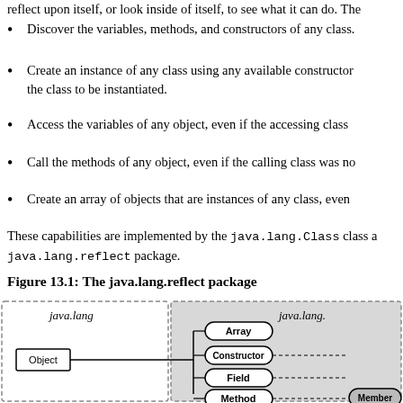reflect upon itself, or look inside of itself, to see what it can do. The
Discover the variables, methods, and constructors of any class.
Create an instance of any class using any available constructor, the class to be instantiated.
Access the variables of any object, even if the accessing class
Call the methods of any object, even if the calling class was no
Create an array of objects that are instances of any class, even
These capabilities are implemented by the java.lang.Class class and java.lang.reflect package.
Figure 13.1: The java.lang.reflect package
[Figure (engineering-diagram): UML-style class diagram showing the java.lang and java.lang.reflect packages. java.lang package contains Object class. java.lang.reflect package contains Array, Constructor, Field, Method classes with dashed lines to Member interface. Object connects to the reflect classes via lines.]